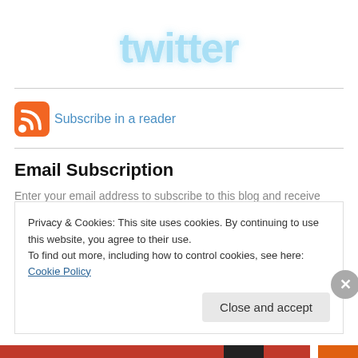[Figure (logo): Twitter logo in light blue gradient text]
[Figure (logo): RSS feed icon (orange rounded square with white RSS symbol) with Subscribe in a reader link]
Email Subscription
Enter your email address to subscribe to this blog and receive
Privacy & Cookies: This site uses cookies. By continuing to use this website, you agree to their use.
To find out more, including how to control cookies, see here: Cookie Policy
Close and accept